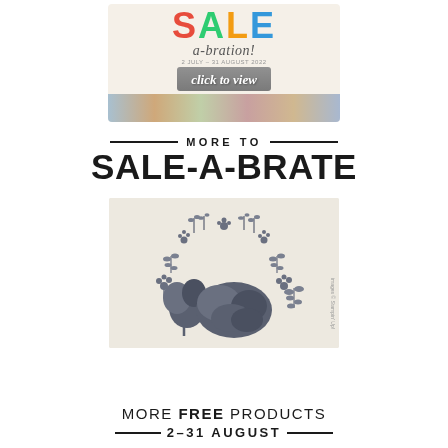[Figure (illustration): Sale-a-bration promotional banner with colorful SALE text, 'a-bration!' subtitle, date text, and 'click to view' overlay button on a collage background]
MORE TO SALE-A-BRATE
[Figure (photo): Product image showing floral die cut shapes and decorative botanical stamp images on a light beige/cream background. Includes large flower cluster, individual flower, and various small botanical/leaf sprigs arranged in an arch pattern.]
MORE FREE PRODUCTS 2-31 AUGUST